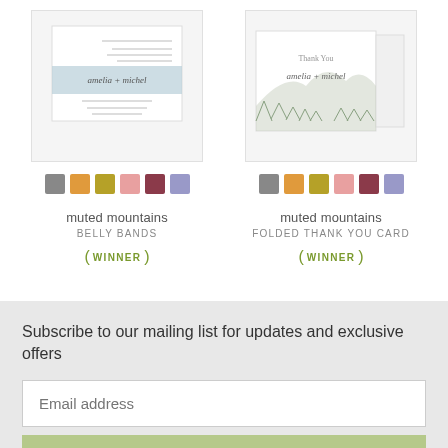[Figure (photo): Muted mountains belly bands stationery product photo]
[Figure (photo): Muted mountains folded thank you card product photo]
muted mountains
BELLY BANDS
WINNER
muted mountains
FOLDED THANK YOU CARD
WINNER
Subscribe to our mailing list for updates and exclusive offers